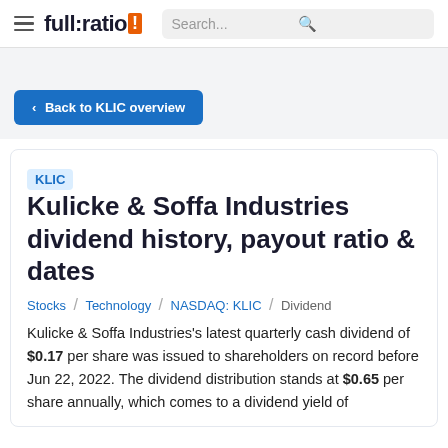full:ratio | Search...
< Back to KLIC overview
KLIC Kulicke & Soffa Industries dividend history, payout ratio & dates
Stocks / Technology / NASDAQ: KLIC / Dividend
Kulicke & Soffa Industries's latest quarterly cash dividend of $0.17 per share was issued to shareholders on record before Jun 22, 2022. The dividend distribution stands at $0.65 per share annually, which comes to a dividend yield of